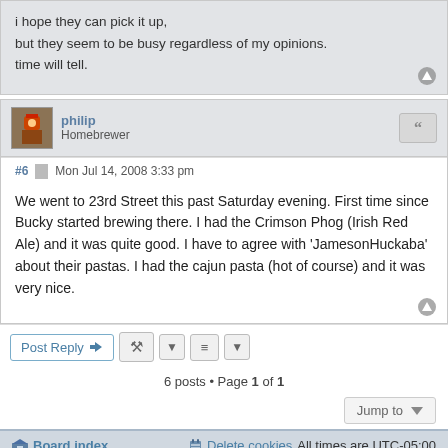i hope they can pick it up,
but they seem to be busy regardless of my opinions.
time will tell.
philip
Homebrewer
#6  Mon Jul 14, 2008 3:33 pm
We went to 23rd Street this past Saturday evening. First time since Bucky started brewing there. I had the Crimson Phog (Irish Red Ale) and it was quite good. I have to agree with 'JamesonHuckaba' about their pastas. I had the cajun pasta (hot of course) and it was very nice.
6 posts • Page 1 of 1
Jump to
Board index    Delete cookies  All times are UTC-05:00
Style developer by support forum tricolor, Powered by phpBB® Forum Software © phpBB Limited